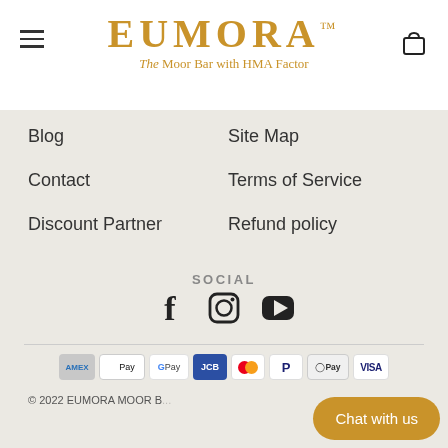EUMORA™ — The Moor Bar with HMA Factor
Blog
Site Map
Contact
Terms of Service
Discount Partner
Refund policy
SOCIAL
[Figure (other): Social media icons: Facebook, Instagram, YouTube]
[Figure (other): Payment method icons: AMEX, Apple Pay, Google Pay, JCB, Mastercard, PayPal, O Pay, VISA]
© 2022 EUMORA MOOR B...
Chat with us